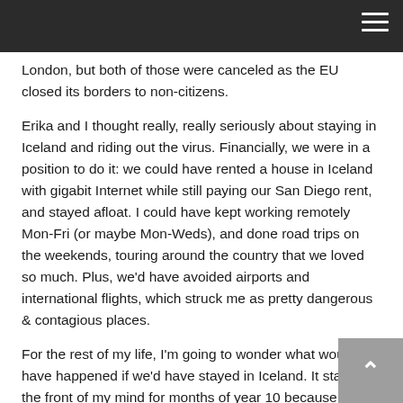[Figure (screenshot): Dark navigation bar with hamburger menu icon on the right]
London, but both of those were canceled as the EU closed its borders to non-citizens.
Erika and I thought really, really seriously about staying in Iceland and riding out the virus. Financially, we were in a position to do it: we could have rented a house in Iceland with gigabit Internet while still paying our San Diego rent, and stayed afloat. I could have kept working remotely Mon-Fri (or maybe Mon-Weds), and done road trips on the weekends, touring around the country that we loved so much. Plus, we'd have avoided airports and international flights, which struck me as pretty dangerous & contagious places.
For the rest of my life, I'm going to wonder what would have happened if we'd have stayed in Iceland. It stayed in the front of my mind for months of year 10 because Iceland handled the virus really well. (Later on near the end of Year 10, we came back to Iceland on teleworker visas.)